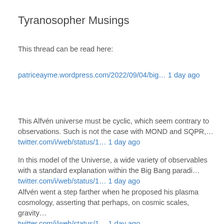Tyranosopher Musings
This thread can be read here:
patriceayme.wordpress.com/2022/09/04/big… 1 day ago
This Alfvén universe must be cyclic, which seem contrary to observations. Such is not the case with MOND and SQPR,…
twitter.com/i/web/status/1… 1 day ago
In this model of the Universe, a wide variety of observables with a standard explanation within the Big Bang paradi…
twitter.com/i/web/status/1… 1 day ago
Alfvén went a step farther when he proposed his plasma cosmology, asserting that perhaps, on cosmic scales, gravity…
twitter.com/i/web/status/1… 1 day ago
For his revolutionary work, Alfvén won the 1970 Nobel Prize (nobelprize.org/prizes/physics…), and MHD is now an essential…
twitter.com/i/web/status/1… 1 day ago